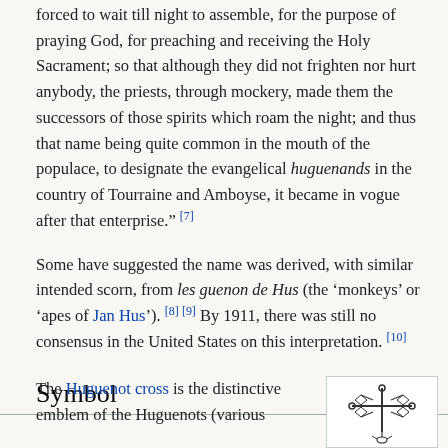forced to wait till night to assemble, for the purpose of praying God, for preaching and receiving the Holy Sacrament; so that although they did not frighten nor hurt anybody, the priests, through mockery, made them the successors of those spirits which roam the night; and thus that name being quite common in the mouth of the populace, to designate the evangelical huguenands in the country of Tourraine and Amboyse, it became in vogue after that enterprise." [7]
Some have suggested the name was derived, with similar intended scorn, from les guenon de Hus (the 'monkeys' or 'apes of Jan Hus'). [8] [9] By 1911, there was still no consensus in the United States on this interpretation. [10]
Symbol
The Huguenot cross is the distinctive emblem of the Huguenots (various...
[Figure (illustration): Small decorative illustration showing a Huguenot cross symbol with ornamental dove pendant elements, drawn in black outline on white background.]